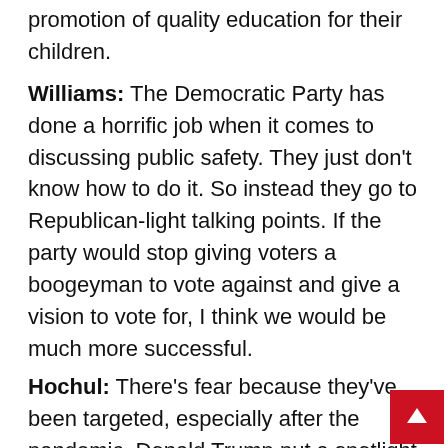promotion of quality education for their children.
Williams: The Democratic Party has done a horrific job when it comes to discussing public safety. They just don't know how to do it. So instead they go to Republican-light talking points. If the party would stop giving voters a boogeyman to vote against and give a vision to vote for, I think we would be much more successful.
Hochul: There's fear because they've been targeted, especially after the pandemic. Donald Trump put a spotlight and blamed China, called it the China flu. They feel that Democrats need to do more to protect them against the street crimes and hate crimes.
What's one issue on which you are